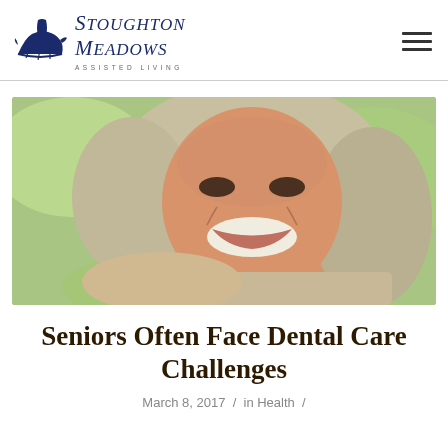[Figure (logo): Stoughton Meadows Assisted Living logo with Viking ship emblem and stylized text]
[Figure (photo): Smiling elderly woman with grey-blonde hair outdoors with blurred green background]
Seniors Often Face Dental Care Challenges
March 8, 2017 / in Health /